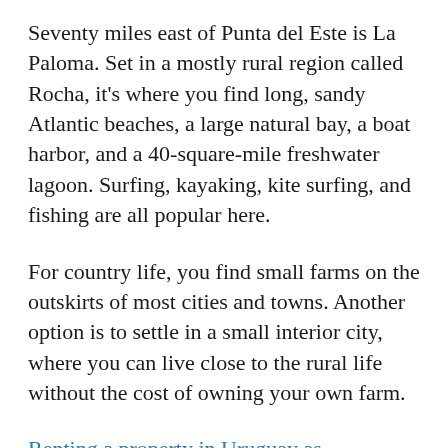Seventy miles east of Punta del Este is La Paloma. Set in a mostly rural region called Rocha, it's where you find long, sandy Atlantic beaches, a large natural bay, a boat harbor, and a 40-square-mile freshwater lagoon. Surfing, kayaking, kite surfing, and fishing are all popular here.
For country life, you find small farms on the outskirts of most cities and towns. Another option is to settle in a small interior city, where you can live close to the rural life without the cost of owning your own farm.
Renting... [partial, in blue/link color]